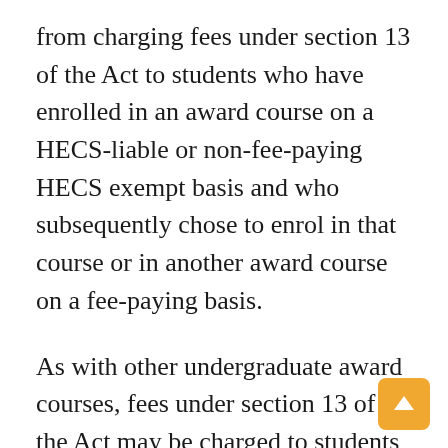from charging fees under section 13 of the Act to students who have enrolled in an award course on a HECS-liable or non-fee-paying HECS exempt basis and who subsequently chose to enrol in that course or in another award course on a fee-paying basis.
As with other undergraduate award courses, fees under section 13 of the Act may be charged to students in Bachelor award courses, which require graduate entry.
Students undertaking an undergraduate award course, the completion of which would allow